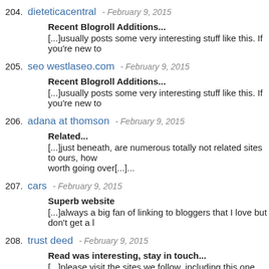204. dieteticacentral - February 9, 2015
Recent Blogroll Additions...
[...]usually posts some very interesting stuff like this. If you're new to
205. seo westlaseo.com - February 9, 2015
Recent Blogroll Additions...
[...]usually posts some very interesting stuff like this. If you're new to
206. adana at thomson - February 9, 2015
Related...
[...]just beneath, are numerous totally not related sites to ours, how worth going over[...]...
207. cars - February 9, 2015
Superb website
[...]always a big fan of linking to bloggers that I love but don't get a l
208. trust deed - February 9, 2015
Read was interesting, stay in touch...
[...]please visit the sites we follow, including this one, as it represen